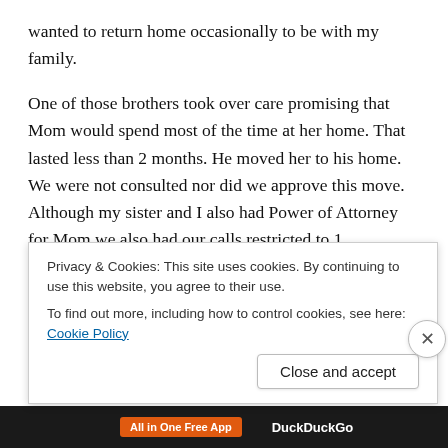wanted to return home occasionally to be with my family.
One of those brothers took over care promising that Mom would spend most of the time at her home. That lasted less than 2 months. He moved her to his home. We were not consulted nor did we approve this move. Although my sister and I also had Power of Attorney for Mom we also had our calls restricted to 1 hour/week on Sunday between 12 – 1. Visits were restricted too.
They then filed an application to overturn Mom's 4-person
Privacy & Cookies: This site uses cookies. By continuing to use this website, you agree to their use.
To find out more, including how to control cookies, see here: Cookie Policy